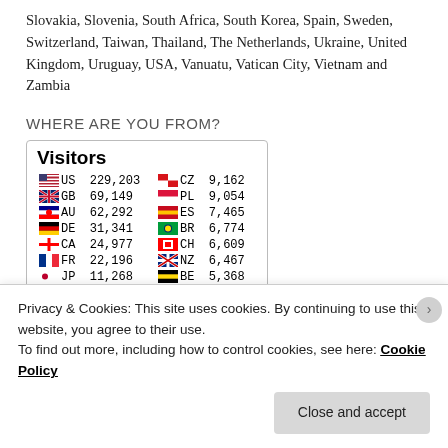Slovakia, Slovenia, South Africa, South Korea, Spain, Sweden, Switzerland, Taiwan, Thailand, The Netherlands, Ukraine, United Kingdom, Uruguay, USA, Vanuatu, Vatican City, Vietnam and Zambia
WHERE ARE YOU FROM?
| Visitors |  |  |  |  |
| --- | --- | --- | --- | --- |
| US | 229,203 | CZ | 9,162 |
| GB | 69,149 | PL | 9,054 |
| AU | 62,292 | ES | 7,465 |
| DE | 31,341 | BR | 6,774 |
| CA | 24,977 | CH | 6,609 |
| FR | 22,196 | NZ | 6,467 |
| JP | 11,268 | BE | 5,368 |
| IT | 10,390 | SE | 5,304 |
Privacy & Cookies: This site uses cookies. By continuing to use this website, you agree to their use.
To find out more, including how to control cookies, see here: Cookie Policy
Close and accept